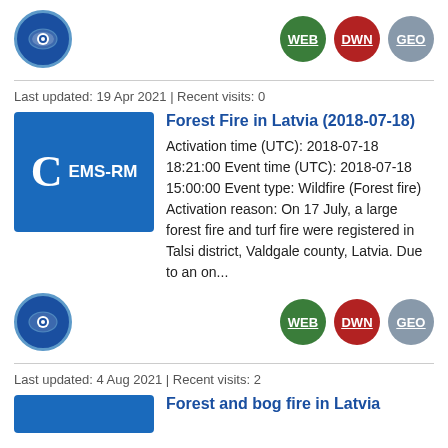[Figure (logo): Eye icon logo circle for first entry]
WEB DWN GEO buttons for first entry
Last updated: 19 Apr 2021 | Recent visits: 0
Forest Fire in Latvia (2018-07-18)
Activation time (UTC): 2018-07-18 18:21:00 Event time (UTC): 2018-07-18 15:00:00 Event type: Wildfire (Forest fire) Activation reason: On 17 July, a large forest fire and turf fire were registered in Talsi district, Valdgale county, Latvia. Due to an on...
[Figure (logo): Eye icon logo circle for second entry]
WEB DWN GEO buttons for second entry
Last updated: 4 Aug 2021 | Recent visits: 2
Forest and bog fire in Latvia